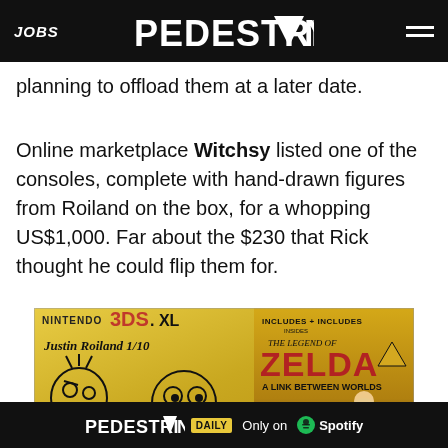JOBS | PEDESTRIAN | menu
planning to offload them at a later date.
Online marketplace Witchsy listed one of the consoles, complete with hand-drawn figures from Roiland on the box, for a whopping US$1,000. Far about the $230 that Rick thought he could flip them for.
[Figure (photo): Nintendo 3DS XL Legend of Zelda A Link Between Worlds special edition console with hand-drawn Justin Roiland signature and sketch faces on the box]
PEDESTRIAN DAILY — Only on Spotify